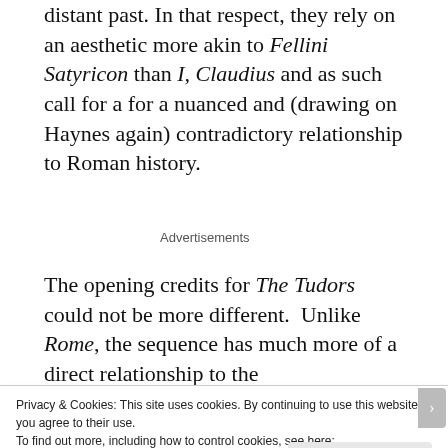distant past. In that respect, they rely on an aesthetic more akin to Fellini Satyricon than I, Claudius and as such call for a for a nuanced and (drawing on Haynes again) contradictory relationship to Roman history.
Advertisements
The opening credits for The Tudors could not be more different. Unlike Rome, the sequence has much more of a direct relationship to the
Privacy & Cookies: This site uses cookies. By continuing to use this website, you agree to their use.
To find out more, including how to control cookies, see here:
Cookie Policy